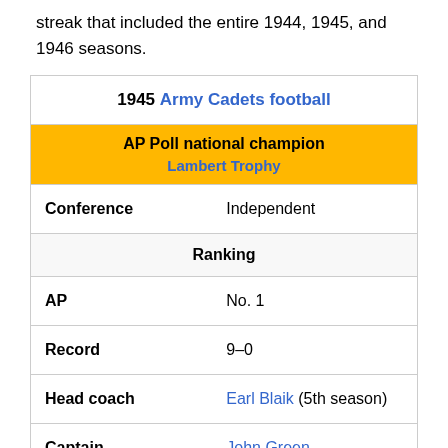streak that included the entire 1944, 1945, and 1946 seasons.
| Field | Value |
| --- | --- |
| 1945 Army Cadets football |  |
| AP Poll national champion / Lambert Trophy |  |
| Conference | Independent |
| Ranking |  |
| AP | No. 1 |
| Record | 9–0 |
| Head coach | Earl Blaik (5th season) |
| Captain | John Green |
| Home stadium | Michie Stadium |